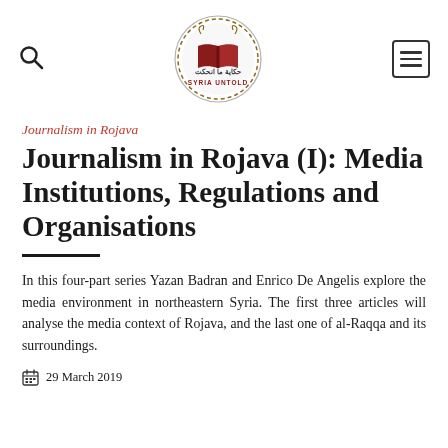Syria Untold logo with search and menu icons
Journalism in Rojava
Journalism in Rojava (I): Media Institutions, Regulations and Organisations
In this four-part series Yazan Badran and Enrico De Angelis explore the media environment in northeastern Syria. The first three articles will analyse the media context of Rojava, and the last one of al-Raqqa and its surroundings.
29 March 2019